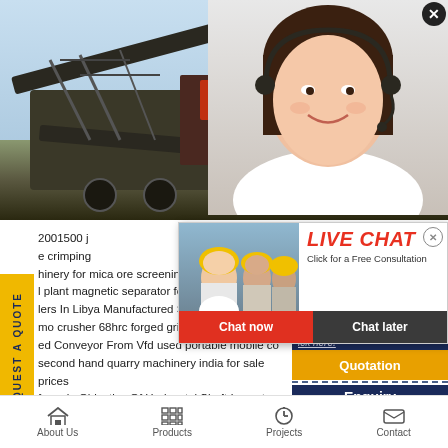[Figure (photo): Industrial mining/crushing machinery on a construction site with dirt mounds in the background and blue sky]
[Figure (photo): Customer service woman with headset smiling, in the top-right corner overlay]
[Figure (screenshot): Live chat popup overlay with workers in hard hats, LIVE CHAT title in red, 'Click for a Free Consultation' subtitle, Chat now (red) and Chat later (dark) buttons, and a close X button]
REQUEST A QUOTE
2001500 j crimping hinery for mica ore screening equipment gold plant magnetic separator for sale usa Stone C lers In Libya Manufactured Sand By Quarry Du mo crusher 68hrc forged grind ball for ball mill ed Conveyor From Vfd used portable mobile co second hand quarry machinery india for sale prices for sale Objective Of Horizontal Shaft Impact Crus
ave any requests, ick here.
Quotation
Enquiry
drobilkalm @gmail.com
About Us   Products   Projects   Contact